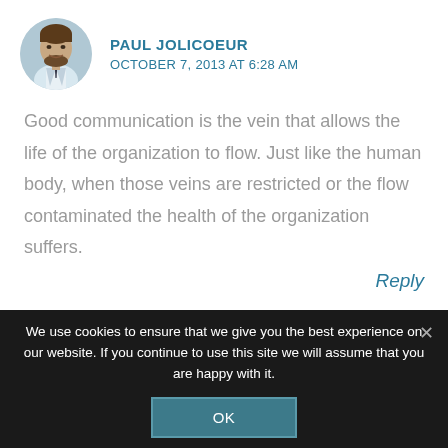[Figure (photo): Circular avatar photo of a man in a suit with a beard, smiling]
PAUL JOLICOEUR
OCTOBER 7, 2013 AT 6:28 AM
Good communication is the vein that allows the life of the organization to flow. Just like the human body, when those veins are restricted or the flow contaminated the health of the organization suffers.
Reply
We use cookies to ensure that we give you the best experience on our website. If you continue to use this site we will assume that you are happy with it.
OK